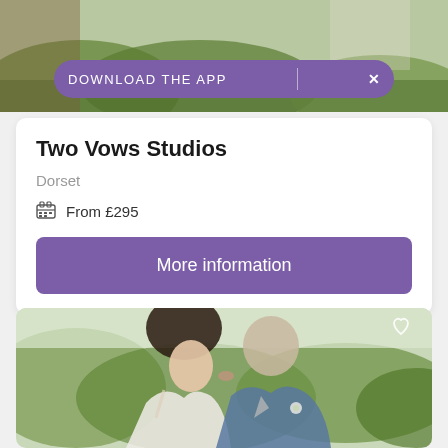[Figure (photo): Outdoor garden/nature photo used as header background image with purple download app banner overlay]
Two Vows Studios
Dorset
From £295
More information
[Figure (photo): Wedding couple kissing, bride in white lace dress with floral hair accessory, groom in blue suit with boutonniere, outdoor green garden background]